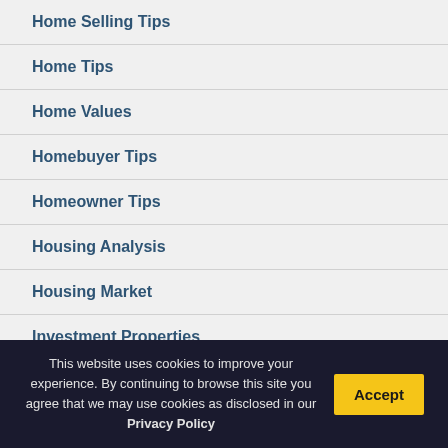Home Selling Tips
Home Tips
Home Values
Homebuyer Tips
Homeowner Tips
Housing Analysis
Housing Market
Investment Properties
This website uses cookies to improve your experience. By continuing to browse this site you agree that we may use cookies as disclosed in our Privacy Policy
Accept